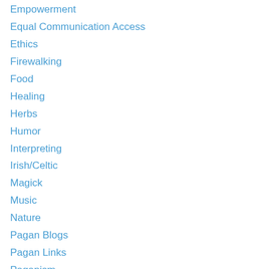Empowerment
Equal Communication Access
Ethics
Firewalking
Food
Healing
Herbs
Humor
Interpreting
Irish/Celtic
Magick
Music
Nature
Pagan Blogs
Pagan Links
Paganism
Photography
Poetry/Prose
Ritual
Sabbats